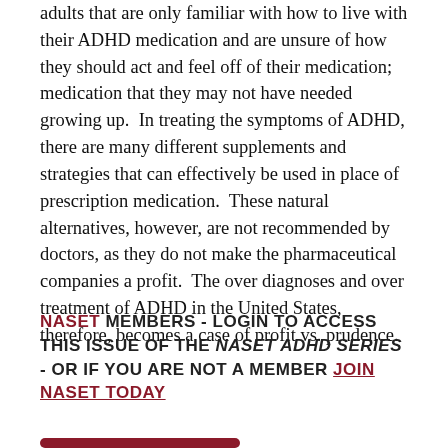adults that are only familiar with how to live with their ADHD medication and are unsure of how they should act and feel off of their medication; medication that they may not have needed growing up. In treating the symptoms of ADHD, there are many different supplements and strategies that can effectively be used in place of prescription medication. These natural alternatives, however, are not recommended by doctors, as they do not make the pharmaceutical companies a profit. The over diagnoses and over treatment of ADHD in the United States, therefore, becomes a case of profit vs. prudence.
NASET MEMBERS - LOGIN TO ACCESS THIS ISSUE OF THE NASET ADHD SERIES - OR IF YOU ARE NOT A MEMBER JOIN NASET TODAY